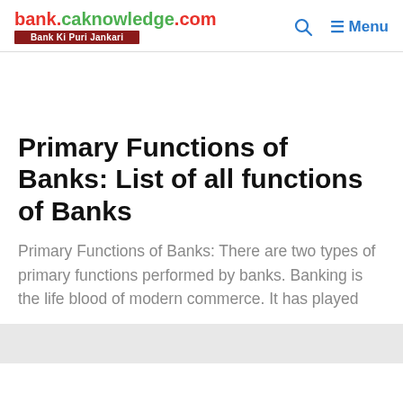bank.caknowledge.com | Bank Ki Puri Jankari | Menu
Primary Functions of Banks: List of all functions of Banks
Primary Functions of Banks: There are two types of primary functions performed by banks. Banking is the life blood of modern commerce. It has played